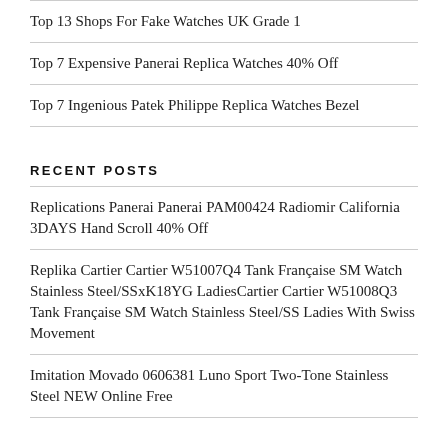Top 13 Shops For Fake Watches UK Grade 1
Top 7 Expensive Panerai Replica Watches 40% Off
Top 7 Ingenious Patek Philippe Replica Watches Bezel
RECENT POSTS
Replications Panerai Panerai PAM00424 Radiomir California 3DAYS Hand Scroll 40% Off
Replika Cartier Cartier W51007Q4 Tank Française SM Watch Stainless Steel/SSxK18YG LadiesCartier Cartier W51008Q3 Tank Française SM Watch Stainless Steel/SS Ladies With Swiss Movement
Imitation Movado 0606381 Luno Sport Two-Tone Stainless Steel NEW Online Free